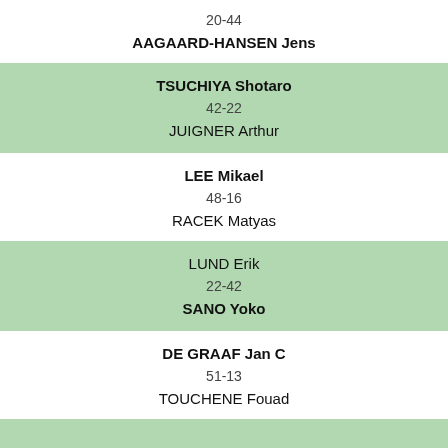20-44
AAGAARD-HANSEN Jens
TSUCHIYA Shotaro
42-22
JUIGNER Arthur
LEE Mikael
48-16
RACEK Matyas
LUND Erik
22-42
SANO Yoko
DE GRAAF Jan C
51-13
TOUCHENE Fouad